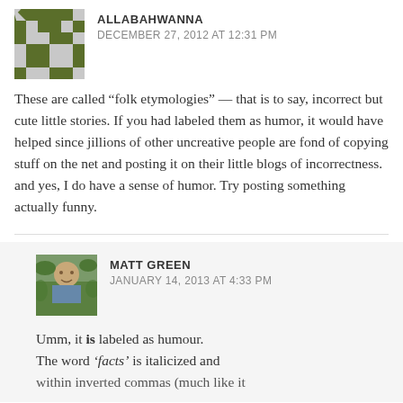ALLABAHWANNA
DECEMBER 27, 2012 AT 12:31 PM
These are called “folk etymologies” — that is to say, incorrect but cute little stories. If you had labeled them as humor, it would have helped since jillions of other uncreative people are fond of copying stuff on the net and posting it on their little blogs of incorrectness. and yes, I do have a sense of humor. Try posting something actually funny.
MATT GREEN
JANUARY 14, 2013 AT 4:33 PM
Umm, it is labeled as humour. The word ‘facts’ is italicized and within inverted commas (much like it